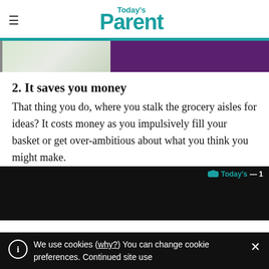Today's Parent
[Figure (photo): Partial image strip with light green/white section on left and dark purple section on right]
2. It saves you money
That thing you do, where you stalk the grocery aisles for ideas? It costs money as you impulsively fill your basket or get over-ambitious about what you think you might make.
[Figure (screenshot): Dark banner area with Today's Parent logo visible]
We use cookies (why?) You can change cookie preferences. Continued site use